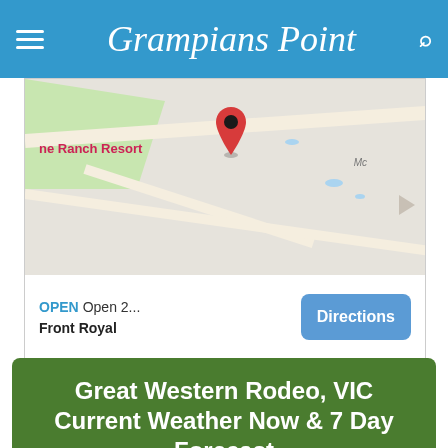Grampians Point
[Figure (screenshot): Google Maps screenshot showing Ranch Resort location with red pin marker, OPEN status, Open 2..., Front Royal, and Directions button]
Great Western Rodeo, VIC Current Weather Now & 7 Day Forecast
GREAT WESTERN WEATHER
Great Western Rodeo Information & Details